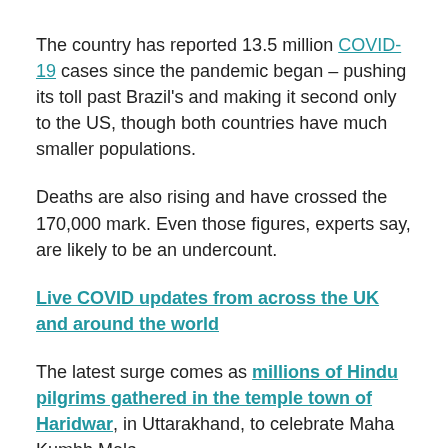The country has reported 13.5 million COVID-19 cases since the pandemic began – pushing its toll past Brazil's and making it second only to the US, though both countries have much smaller populations.
Deaths are also rising and have crossed the 170,000 mark. Even those figures, experts say, are likely to be an undercount.
Live COVID updates from across the UK and around the world
The latest surge comes as millions of Hindu pilgrims gathered in the temple town of Haridwar, in Uttarakhand, to celebrate Maha Kumbh Mela.